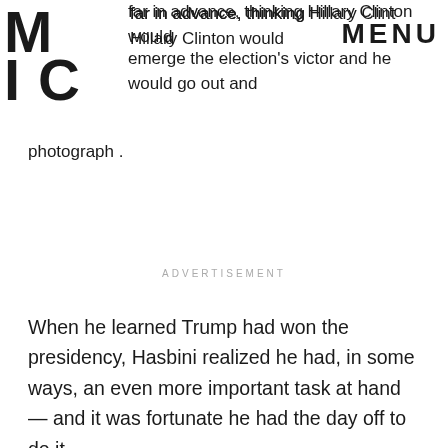MIC | MENU
College far in advance, thinking Hillary Clinton would emerge the election's victor and he would go out and photograph .
ADVERTISEMENT
When he learned Trump had won the presidency, Hasbini realized he had, in some ways, an even more important task at hand — and it was fortunate he had the day off to do it.